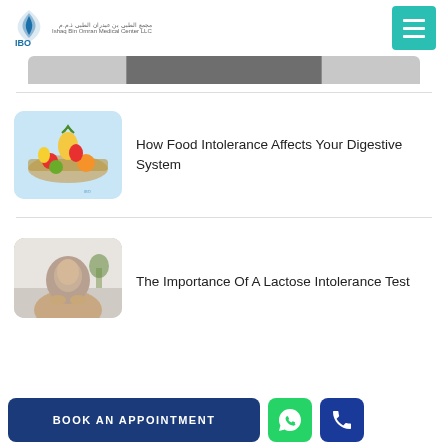IBO - Ishaq Bin Omran Medical Center LLC
[Figure (photo): Partial image strip at top of content area]
[Figure (photo): Fruit and vegetables arranged on a light blue tray including pineapple, tomatoes, peppers, kiwi, and orange]
How Food Intolerance Affects Your Digestive System
[Figure (photo): Woman wearing hijab holding her stomach, sitting indoors]
The Importance Of A Lactose Intolerance Test
BOOK AN APPOINTMENT